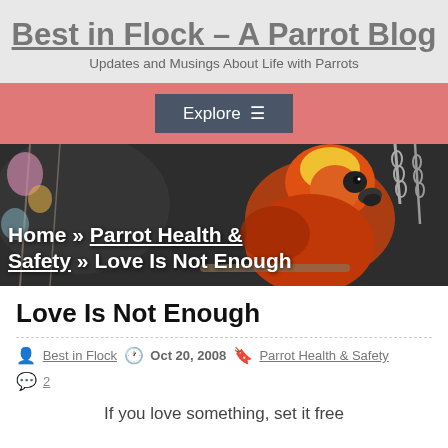Best in Flock – A Parrot Blog
Updates and Musings About Life with Parrots
Explore ☰
[Figure (photo): A bright orange and yellow parrot (sun conure) on a swing/chain in a dark background with colorful bird toys visible]
Home » Parrot Health & Safety » Love Is Not Enough
Love Is Not Enough
Best in Flock   Oct 20, 2008   Parrot Health & Safety   2
If you love something, set it free